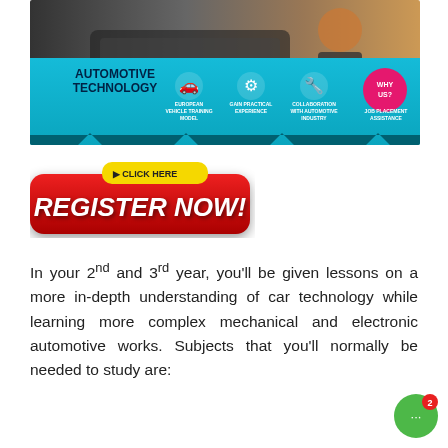[Figure (infographic): Automotive Technology promotional banner with photo of mechanic, blue background with icons for European Vehicle Training Model, Gain Practical Experience, Collaboration with Automotive Industry, Job Placement Assistance, and a 'Why Us?' pink circle badge]
[Figure (infographic): Red 'REGISTER NOW!' button with yellow 'CLICK HERE' badge on top]
In your 2nd and 3rd year, you'll be given lessons on a more in-depth understanding of car technology while learning more complex mechanical and electronic automotive works. Subjects that you'll normally be needed to study are: